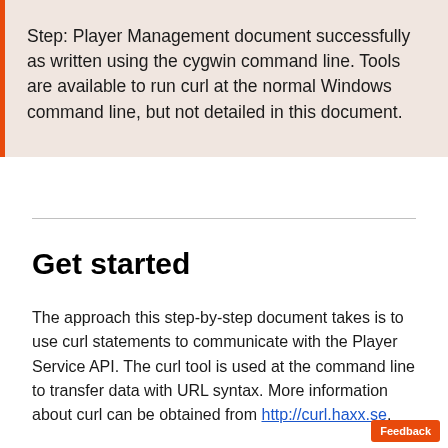Step: Player Management document successfully as written using the cygwin command line. Tools are available to run curl at the normal Windows command line, but not detailed in this document.
Get started
The approach this step-by-step document takes is to use curl statements to communicate with the Player Service API. The curl tool is used at the command line to transfer data with URL syntax. More information about curl can be obtained from http://curl.haxx.se.